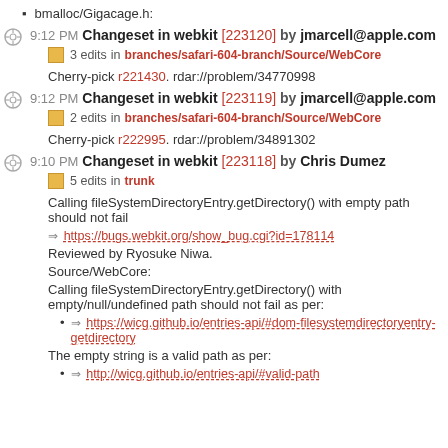bmalloc/Gigacage.h:
9:12 PM Changeset in webkit [223120] by jmarcell@apple.com
3 edits in branches/safari-604-branch/Source/WebCore
Cherry-pick r221430. rdar://problem/34770998
9:12 PM Changeset in webkit [223119] by jmarcell@apple.com
2 edits in branches/safari-604-branch/Source/WebCore
Cherry-pick r222995. rdar://problem/34891302
9:10 PM Changeset in webkit [223118] by Chris Dumez
5 edits in trunk
Calling fileSystemDirectoryEntry.getDirectory() with empty path should not fail
https://bugs.webkit.org/show_bug.cgi?id=178114
Reviewed by Ryosuke Niwa.
Source/WebCore:
Calling fileSystemDirectoryEntry.getDirectory() with empty/null/undefined path should not fail as per:
https://wicg.github.io/entries-api/#dom-filesystemdirectoryentry-getdirectory
The empty string is a valid path as per:
http://wicg.github.io/entries-api/#valid-path